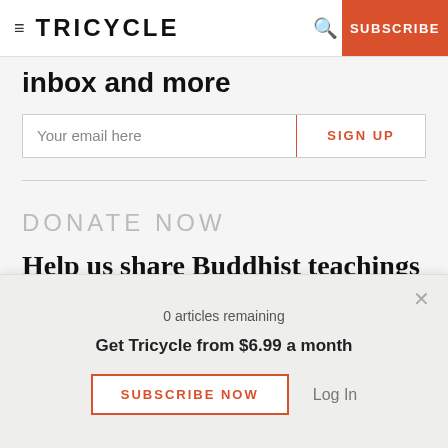≡ TRICYCLE   🔍   SUBSCRIBE
inbox and more
Your email here   SIGN UP
DONATE NOW
Help us share Buddhist teachings
0 articles remaining
Get Tricycle from $6.99 a month
SUBSCRIBE NOW   Log In